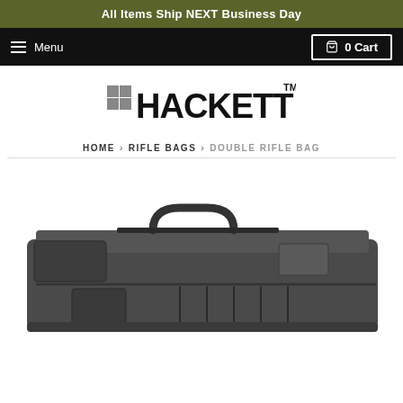All Items Ship NEXT Business Day
Menu | 0 Cart
[Figure (logo): Hackett logo with crosshair/plus icon and HACKETT text in bold with TM superscript]
HOME › RIFLE BAGS › DOUBLE RIFLE BAG
[Figure (photo): Dark gray/black double rifle bag with handles, pockets and molle straps shown from front angle]